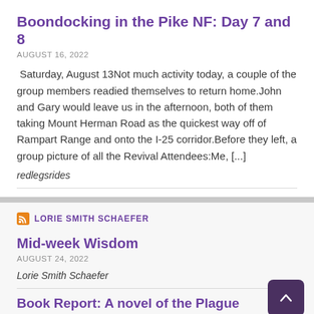Boondocking in the Pike NF: Day 7 and 8
AUGUST 16, 2022
Saturday, August 13Not much activity today, a couple of the group members readied themselves to return home.John and Gary would leave us in the afternoon, both of them taking Mount Herman Road as the quickest way off of Rampart Range and onto the I-25 corridor.Before they left, a group picture of all the Revival Attendees:Me, [...]
redlegsrides
LORIE SMITH SCHAEFER
Mid-week Wisdom
AUGUST 24, 2022
Lorie Smith Schaefer
Book Report: A novel of the Plague
AUGUST 23, 2022